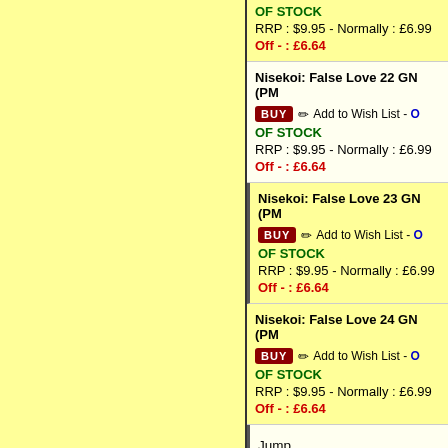OF STOCK
RRP : $9.95  -  Normally : £6.99
Off - : £6.64
Nisekoi: False Love 22 GN (PM...
BUY  Add to Wish List  - OUT OF STOCK
RRP : $9.95  -  Normally : £6.99
Off - : £6.64
Nisekoi: False Love 23 GN (PM...
BUY  Add to Wish List  - OUT OF STOCK
RRP : $9.95  -  Normally : £6.99
Off - : £6.64
Nisekoi: False Love 24 GN (PM...
BUY  Add to Wish List  - OUT OF STOCK
RRP : $9.95  -  Normally : £6.99
Off - : £6.64
Jump
to 0
2 7 a
b c d
e f g